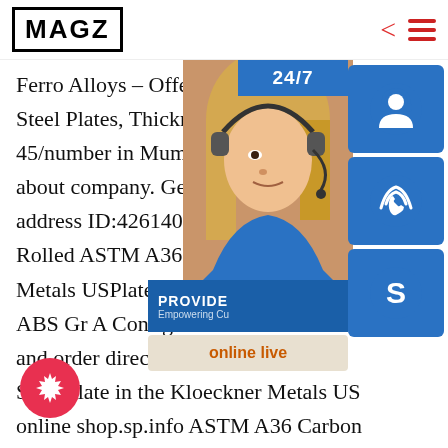MAGZ
Ferro Alloys – Offering ASTM A36 Steel Plates, Thickness:3mm to 3 45/number in Mumbai, Maharashtra about company. Get contact address ID:4261408333sp.in Rolled ASTM A36 / ABS Gr A Metals USPlate Mill Rolled ABS Gr A Configure dimensions and order directly. Simply Steel Plate in the Kloeckner Metals US online shop.sp.info ASTM A36 Carbon Steel Plate and A36 MS Sheet/ Coil/ Strip A36 Carbon Steel Plate Price in USD. A36 Carbon Steel Plate Price in UAE Dirham.
[Figure (infographic): Customer service overlay with photo of woman with headset, blue icon buttons for headset, phone, and Skype, a 24/7 bar, PROVIDE Empowering Customers banner, and online live button]